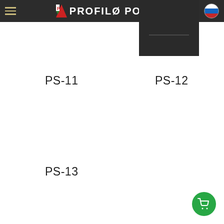PROFILO PORTE
[Figure (photo): Dark door panel thumbnail for PS-12]
PS-11
PS-12
PS-13